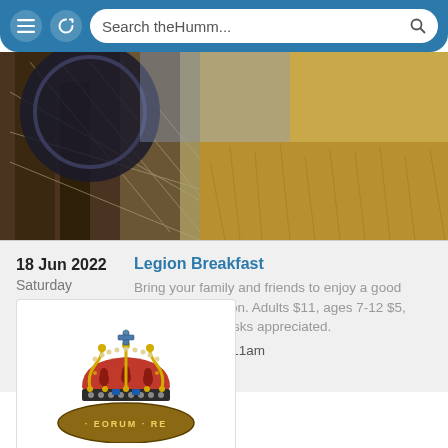Search theHumm...
[Figure (photo): Outdoor photo showing bicycle wheel wire mesh against dry grass and brown earth background]
18 Jun 2022 Saturday
Legion Breakfast
Bring your family and friends to enjoy a good meal at the Legion. Adults $11, ages 7-12 $5, under 6 free! Masks appreciated.
Time: 8:00AM - 11am
Almonte Legion - Almonte
[Figure (logo): Royal Canadian Legion emblem/badge with crown on top and partial circular text reading EORUM RE at the bottom]